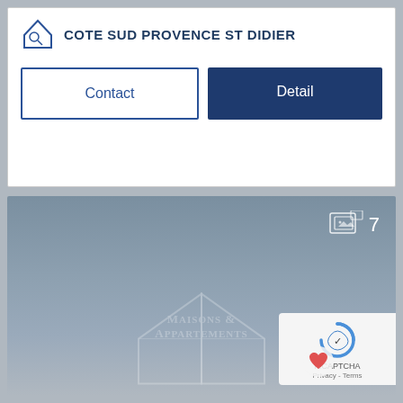COTE SUD PROVENCE ST DIDIER
Contact
Detail
[Figure (photo): Listing image placeholder with Maisons & Appartements watermark logo and image counter showing 7 photos]
7